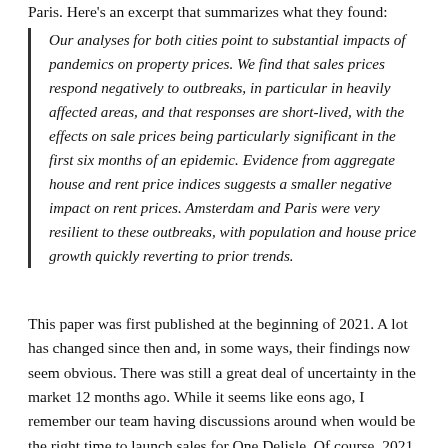Paris. Here's an excerpt that summarizes what they found:
Our analyses for both cities point to substantial impacts of pandemics on property prices. We find that sales prices respond negatively to outbreaks, in particular in heavily affected areas, and that responses are short-lived, with the effects on sale prices being particularly significant in the first six months of an epidemic. Evidence from aggregate house and rent price indices suggests a smaller negative impact on rent prices. Amsterdam and Paris were very resilient to these outbreaks, with population and house price growth quickly reverting to prior trends.
This paper was first published at the beginning of 2021. A lot has changed since then and, in some ways, their findings now seem obvious. There was still a great deal of uncertainty in the market 12 months ago. While it seems like eons ago, I remember our team having discussions around when would be the right time to launch sales for One Delisle. Of course, 2021